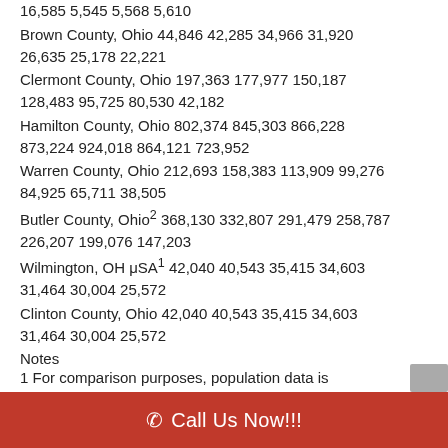16,585 5,545 5,568 5,610
Brown County, Ohio 44,846 42,285 34,966 31,920 26,635 25,178 22,221
Clermont County, Ohio 197,363 177,977 150,187 128,483 95,725 80,530 42,182
Hamilton County, Ohio 802,374 845,303 866,228 873,224 924,018 864,121 723,952
Warren County, Ohio 212,693 158,383 113,909 99,276 84,925 65,711 38,505
Butler County, Ohio2 368,130 332,807 291,479 258,787 226,207 199,076 147,203
Wilmington, OH μSA1 42,040 40,543 35,415 34,603 31,464 30,004 25,572
Clinton County, Ohio 42,040 40,543 35,415 34,603 31,464 30,004 25,572
Notes
1 For comparison purposes, population data is
Call Us Now!!!